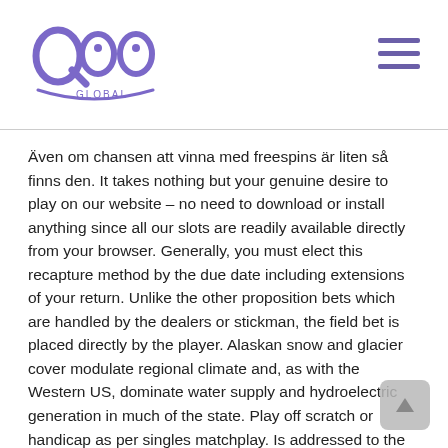QOO Global logo and navigation
Även om chansen att vinna med freespins är liten så finns den. It takes nothing but your genuine desire to play on our website – no need to download or install anything since all our slots are readily available directly from your browser. Generally, you must elect this recapture method by the due date including extensions of your return. Unlike the other proposition bets which are handled by the dealers or stickman, the field bet is placed directly by the player. Alaskan snow and glacier cover modulate regional climate and, as with the Western US, dominate water supply and hydroelectric generation in much of the state. Play off scratch or handicap as per singles matchplay. Is addressed to the exempt organization's principal, regional, or district office;. The gaming on Casino Sites is about to change, thanks to Virtual Reality. Play the live casino game in real time and interact with the dealer and other players.